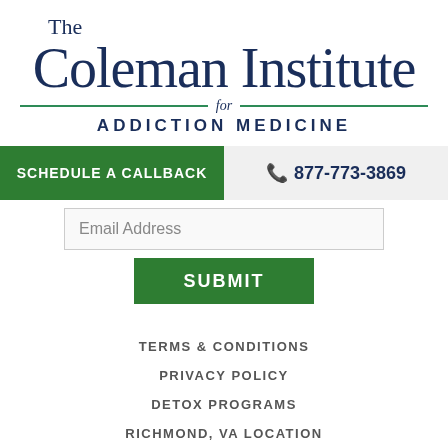The Coleman Institute for ADDICTION MEDICINE
SCHEDULE A CALLBACK
877-773-3869
Email Address
SUBMIT
TERMS & CONDITIONS
PRIVACY POLICY
DETOX PROGRAMS
RICHMOND, VA LOCATION
BOSTON, MA LOCATION